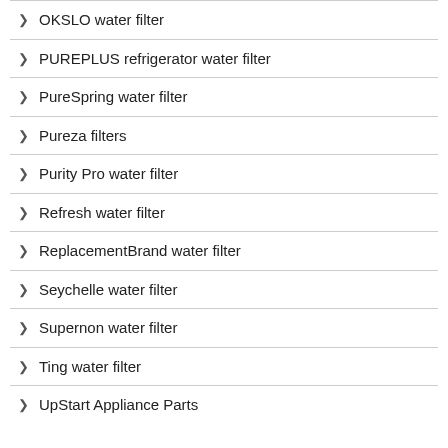OKSLO water filter
PUREPLUS refrigerator water filter
PureSpring water filter
Pureza filters
Purity Pro water filter
Refresh water filter
ReplacementBrand water filter
Seychelle water filter
Supernon water filter
Ting water filter
UpStart Appliance Parts